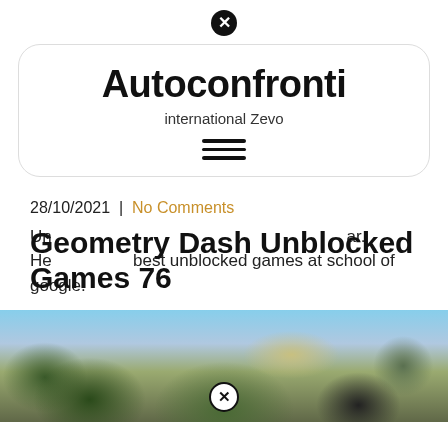✕
Autoconfronti
international Zevo
[Figure (other): Hamburger menu icon with three horizontal lines]
28/10/2021  |  No Comments
Unblocked games at school are the best ar. Here are the best unblocked games at school of google.
Geometry Dash Unblocked Games 76
[Figure (photo): Outdoor rocky landscape with vegetation and sky, with a close button overlay at bottom center]